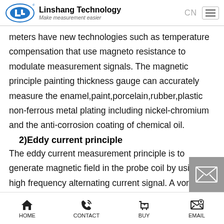Linshang Technology — Make measurement easier
meters have new technologies such as temperature compensation that use magneto resistance to modulate measurement signals. The magnetic principle painting thickness gauge can accurately measure the enamel,paint,porcelain,rubber,plastic non-ferrous metal plating including nickel-chromium and the anti-corrosion coating of chemical oil.
2)Eddy current principle
The eddy current measurement principle is to generate magnetic field in the probe coil by using a high frequency alternating current signal. A vortex is formed when the side
HOME   CONTACT   BUY   EMAIL